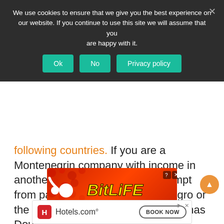We use cookies to ensure that we give you the best experience on our website. If you continue to use this site we will assume that you are happy with it.
Ok | No | Privacy policy
following countries. If you are a Montenegrin company with income in another country, you may be exempt from paying tax in either Montenegro or the country you are in. Montenegro has Double Taxation Treaties with 36 countries, with an additional 6, which are still pending.
[Figure (advertisement): BitLife mobile game advertisement with red bubble background, white sperm-like logo icon, BitLife logo in yellow text, and black bar at bottom reading START A NEW LIFE]
[Figure (advertisement): Hotels.com advertisement with red H icon, Hotels.com text, and BOOK NOW button with border]